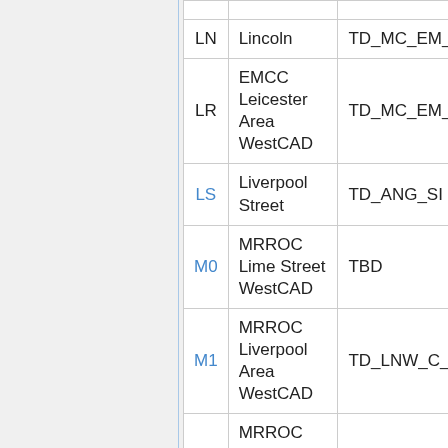| Code | Name | TD |
| --- | --- | --- |
|  |  |  |
| LN | Lincoln | TD_MC_EM_ |
| LR | EMCC Leicester Area WestCAD | TD_MC_EM_ |
| LS | Liverpool Street | TD_ANG_SI |
| M0 | MRROC Lime Street WestCAD | TBD |
| M1 | MRROC Liverpool Area WestCAD | TD_LNW_C_ |
| M2 | MRROC Manchester North WestCAD | TD_LNW_C_ |
| M3 | MRROC Manchester Central WestCAD | TD_LNW_C_ |
| M4 | MRROC Wavertree WestCAD | TBD |